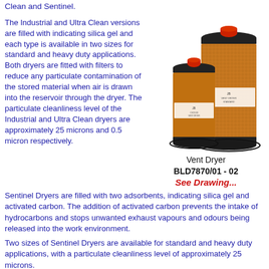Clean and Sentinel.
The Industrial and Ultra Clean versions are filled with indicating silica gel and each type is available in two sizes for standard and heavy duty applications. Both dryers are fitted with filters to reduce any particulate contamination of the stored material when air is drawn into the reservoir through the dryer. The particulate cleanliness level of the Industrial and Ultra Clean dryers are approximately 25 microns and 0.5 micron respectively.
[Figure (photo): Two cylindrical vent dryers of different sizes, filled with orange/brown silica gel material, with black caps and red tops. Both have labels on them.]
Vent Dryer
BLD7870/01 - 02
See Drawing...
Sentinel Dryers are filled with two adsorbents, indicating silica gel and activated carbon. The addition of activated carbon prevents the intake of hydrocarbons and stops unwanted exhaust vapours and odours being released into the work environment.
Two sizes of Sentinel Dryers are available for standard and heavy duty applications, with a particulate cleanliness level of approximately 25 microns.
Our Industrial Drum Vent Dryers come in two sizes, they are filled with colour changing Envirogel (orange to green) desiccant. They are designed to fit directly onto 205 litre oils drums and other larger